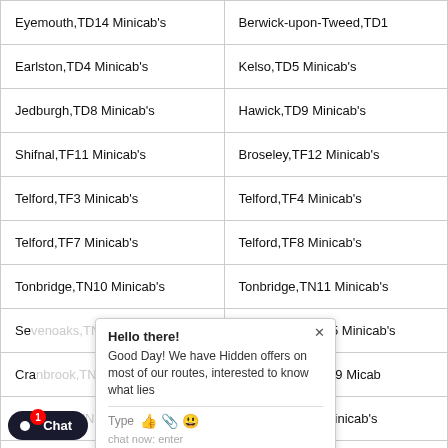| Location (Left) | Location (Right) |
| --- | --- |
| Eyemouth,TD14 Minicab's | Berwick-upon-Tweed,TD1… |
| Earlston,TD4 Minicab's | Kelso,TD5 Minicab's |
| Jedburgh,TD8 Minicab's | Hawick,TD9 Minicab's |
| Shifnal,TF11 Minicab's | Broseley,TF12 Minicab's |
| Telford,TF3 Minicab's | Telford,TF4 Minicab's |
| Telford,TF7 Minicab's | Telford,TF8 Minicab's |
| Tonbridge,TN10 Minicab's | Tonbridge,TN11 Minicab's |
| Se… Minicab's | Sevenoaks,TN15 Minicab's |
| Cra… Minicab's | Etchingham,TN19 Minicab's |
| He… Minicab's | Uckfield,TN22 Minicab's |
| Ash… Minicab's | Ashford,TN26 Minicab's |
| Romney Marsh,TN29 Minicab's | Royal Tunbridge Wells,TN… |
| Roberts bridge,TN32 Minicab's (cut off) | Battle,TN33 Minicab's (cut off) |